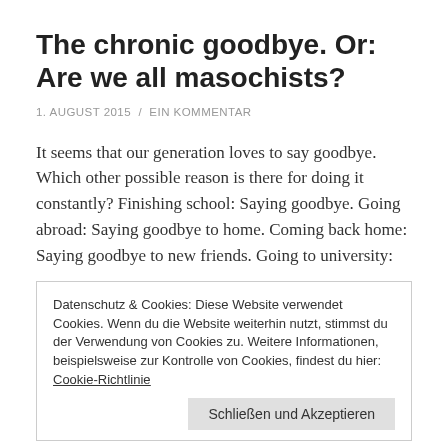The chronic goodbye. Or: Are we all masochists?
1. AUGUST 2015  /  EIN KOMMENTAR
It seems that our generation loves to say goodbye. Which other possible reason is there for doing it constantly? Finishing school: Saying goodbye. Going abroad: Saying goodbye to home. Coming back home: Saying goodbye to new friends. Going to university:
Datenschutz & Cookies: Diese Website verwendet Cookies. Wenn du die Website weiterhin nutzt, stimmst du der Verwendung von Cookies zu. Weitere Informationen, beispielsweise zur Kontrolle von Cookies, findest du hier: Cookie-Richtlinie
Schließen und Akzeptieren
the end.